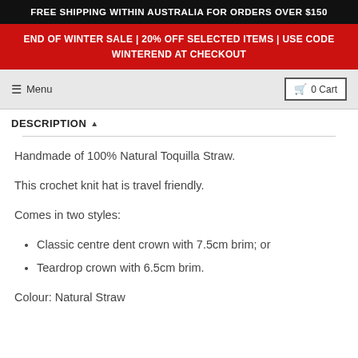FREE SHIPPING WITHIN AUSTRALIA FOR ORDERS OVER $150
END OF WINTER SALE | 20% OFF SELECTED ITEMS | USE CODE WINTEREND AT CHECKOUT
Menu   0 Cart
DESCRIPTION ▲
Handmade of 100% Natural Toquilla Straw.
This crochet knit hat is travel friendly.
Comes in two styles:
Classic centre dent crown with 7.5cm brim; or
Teardrop crown with 6.5cm brim.
Colour: Natural Straw